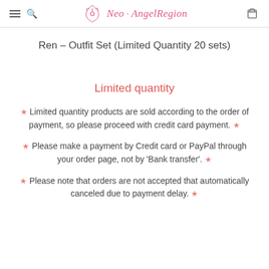Neo · AngelRegion
Ren – Outfit Set (Limited Quantity 20 sets)
Limited quantity
★ Limited quantity products are sold according to the order of payment, so please proceed with credit card payment. ★
★ Please make a payment by Credit card or PayPal through your order page, not by 'Bank transfer'. ★
★ Please note that orders are not accepted that automatically canceled due to payment delay. ★